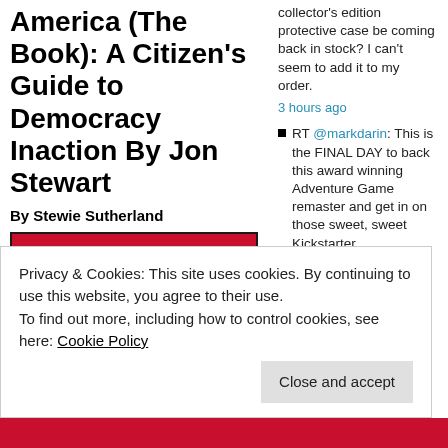America (The Book): A Citizen's Guide to Democracy Inaction By Jon Stewart
By Stewie Sutherland
[Figure (illustration): Book cover of America (The Book) by The Daily Show with Jon Stewart. Red banner at top reads 'THE DAILY SHOW WITH JON STEWART PRESENTS'. Large blue text 'AMERICA' dominates the cover with '(THE BOOK)' and 'A Citizen's Guide to Democracy Inaction' below. Bottom shows an American flag with a bald eagle partially visible.]
collector's edition protective case be coming back in stock? I can't seem to add it to my order.
3 hours ago
RT @markdarin: This is the FINAL DAY to back this award winning Adventure Game remaster and get in on those sweet, sweet Kickstarter
Privacy & Cookies: This site uses cookies. By continuing to use this website, you agree to their use.
To find out more, including how to control cookies, see here: Cookie Policy
Close and accept